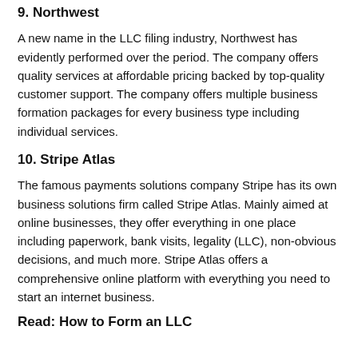9. Northwest
A new name in the LLC filing industry, Northwest has evidently performed over the period. The company offers quality services at affordable pricing backed by top-quality customer support. The company offers multiple business formation packages for every business type including individual services.
10. Stripe Atlas
The famous payments solutions company Stripe has its own business solutions firm called Stripe Atlas. Mainly aimed at online businesses, they offer everything in one place including paperwork, bank visits, legality (LLC), non-obvious decisions, and much more. Stripe Atlas offers a comprehensive online platform with everything you need to start an internet business.
Read: How to Form an LLC